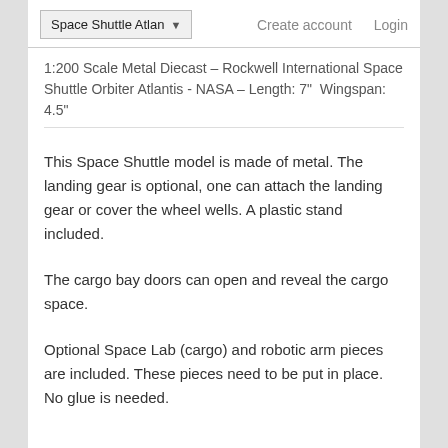Space Shuttle Atlan ▾   Create account   Login
1:200 Scale Metal Diecast – Rockwell International Space Shuttle Orbiter Atlantis - NASA – Length: 7"  Wingspan: 4.5"
This Space Shuttle model is made of metal. The landing gear is optional, one can attach the landing gear or cover the wheel wells. A plastic stand included.
The cargo bay doors can open and reveal the cargo space.
Optional Space Lab (cargo) and robotic arm pieces are included. These pieces need to be put in place. No glue is needed.